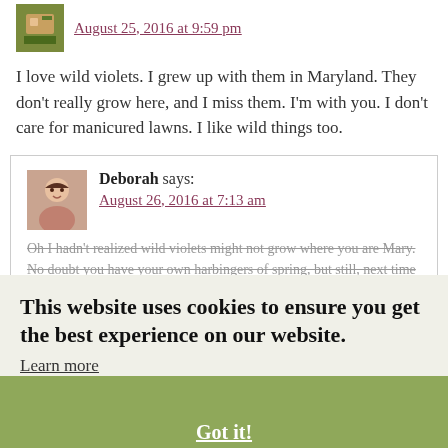August 25, 2016 at 9:59 pm
I love wild violets. I grew up with them in Maryland. They don't really grow here, and I miss them. I'm with you. I don't care for manicured lawns. I like wild things too.
Deborah says:
August 26, 2016 at 7:13 am
Oh I hadn't realized wild violets might not grow where you are Mary. No doubt you have your own harbingers of spring, but still, next time they're blooming I'll send a little violet love energy your way.
This website uses cookies to ensure you get the best experience on our website.
Learn more
Got it!
Vicki says:
August 30, 2016 at 4:08 pm